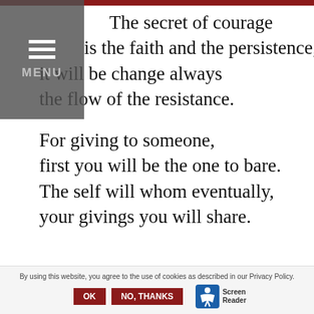[Figure (screenshot): Top red navigation bar and gray hamburger menu overlay with MENU label]
The secret of courage
is the faith and the persistence,
it will be change always
the flow of the resistance.

For giving to someone,
first you will be the one to bare.
The self will whom eventually,
your givings you will share.
By using this website, you agree to the use of cookies as described in our Privacy Policy. OK NO, THANKS Screen Reader